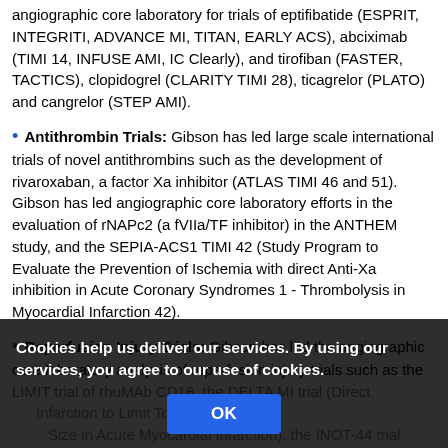angiographic core laboratory for trials of eptifibatide (ESPRIT, INTEGRITI, ADVANCE MI, TITAN, EARLY ACS), abciximab (TIMI 14, INFUSE AMI, IC Clearly), and tirofiban (FASTER, TACTICS), clopidogrel (CLARITY TIMI 28), ticagrelor (PLATO) and cangrelor (STEP AMI).
Antithrombin Trials: Gibson has led large scale international trials of novel antithrombins such as the development of rivaroxaban, a factor Xa inhibitor (ATLAS TIMI 46 and 51). Gibson has led angiographic core laboratory efforts in the evaluation of rNAPc2 (a fVIIa/TF inhibitor) in the ANTHEM study, and the SEPIA-ACS1 TIMI 42 (Study Program to Evaluate the Prevention of Ischemia with direct Anti-Xa inhibition in Acute Coronary Syndromes 1 - Thrombolysis in Myocardial Infarction 42).
Reperfusion Injury Trials: Gibson has led the angiographic core laboratory analysis of reperfusion injury trials such as the LIMIT trial of rhuMAb CD18, the DELTA MI trial (Direct Investigation of Lesion Thrombosis to Limit Total Infarct Size in Acute Myocardial Infarction), the INOT-44 trial (Nitric Oxide in Myocardial Infarction) (NOMI), and the INTESIVE
Cookies help us deliver our services. By using our services, you agree to our use of cookies.